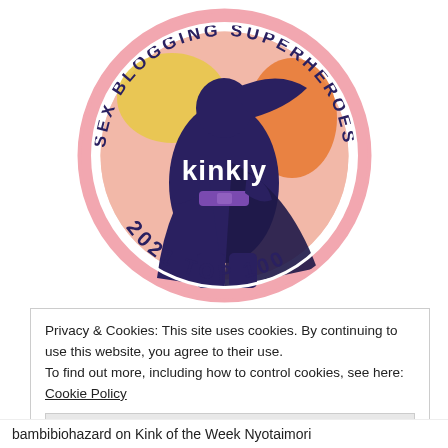[Figure (logo): Kinkly Sex Blogging Superheroes 2021 Top 100 badge — circular badge with pink border, silhouette of a female superhero figure, colorful background segments (yellow, peach, orange), text arcing around the top reading 'SEX BLOGGING SUPERHEROES' in dark navy, and text arcing along the bottom reading '2021 TOP 100', with the Kinkly logo in white in the center.]
Privacy & Cookies: This site uses cookies. By continuing to use this website, you agree to their use.
To find out more, including how to control cookies, see here: Cookie Policy
Close and accept
bambibiohazard on Kink of the Week Nyotaimori